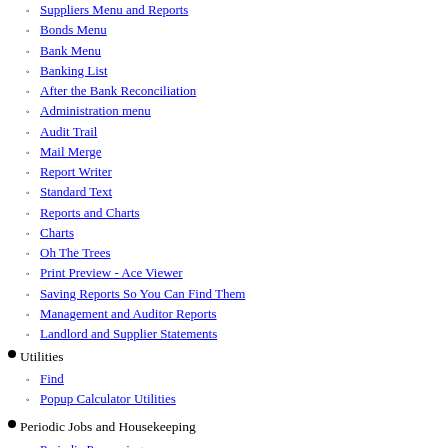Suppliers Menu and Reports
Bonds Menu
Bank Menu
Banking List
After the Bank Reconciliation
Administration menu
Audit Trail
Mail Merge
Report Writer
Standard Text
Reports and Charts
Charts
Oh The Trees
Print Preview - Ace Viewer
Saving Reports So You Can Find Them
Management and Auditor Reports
Landlord and Supplier Statements
Utilities
Find
Popup Calculator Utilities
Periodic Jobs and Housekeeping
Periodic Processing
Housekeeping
BackUp and Restore the Aspect Property Manager
Properties to Rent
Tenant Rent Changes
Archive
Purge and Masterfile Deletions
Standing Charges
End of Period and Reverse End of Period
End of Period - In Depth
Web Page Creation
Web Page - RealENZ - Create Upload File
Web Page - RealENZ - Suburb Matching
Photographs and Photo Administration
Inspection Cycles
Administrative Tasks
Management and Auditor Reports
Landlord and Supplier Statements